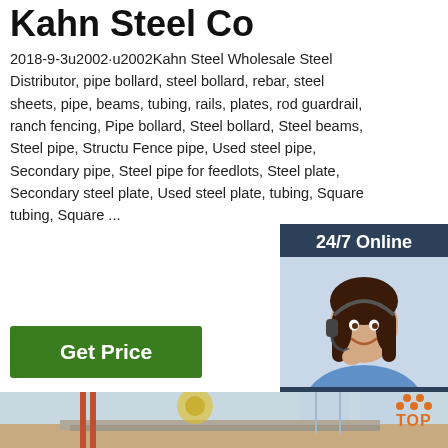Kahn Steel Co
2018-9-3u2002·u2002Kahn Steel Wholesale Steel Distributor, pipe bollard, steel bollard, rebar, steel sheets, pipe, beams, tubing, rails, plates, rod guardrail, ranch fencing, Pipe bollard, Steel bollard, Steel beams, Steel pipe, Structural Fence pipe, Used steel pipe, Secondary pipe, Steel pipe for feedlots, Steel plate, Secondary steel plate, Used steel plate, tubing, Square tubing, Square ...
[Figure (screenshot): 24/7 Online chat widget with woman wearing headset, 'Click here for free chat!' text, and orange QUOTATION button]
Get Price
[Figure (photo): Steel warehouse interior with metal sheets, scaffolding, and industrial equipment. Orange TOP logo visible in bottom right.]